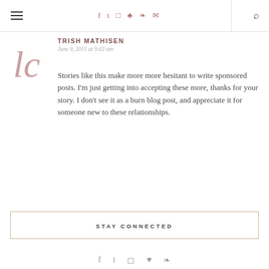Navigation bar with hamburger menu, social icons (f, t, instagram, pinterest, rss, mail), divider, and search icon
[Figure (logo): Cursive 'lc' logo in muted rose/mauve color]
TRISH MATHISEN
June 9, 2015 at 9:02 am
Stories like this make more more hesitant to write sponsored posts. I'm just getting into accepting these more, thanks for your story. I don't see it as a burn blog post, and appreciate it for someone new to these relationships.
STAY CONNECTED
[Figure (other): Partial row of social media icons at the bottom (f, t, instagram, pinterest, rss)]